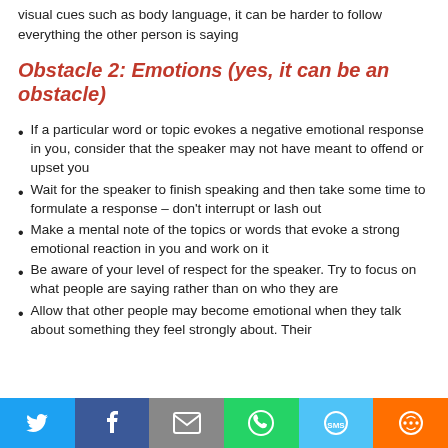visual cues such as body language, it can be harder to follow everything the other person is saying
Obstacle 2: Emotions (yes, it can be an obstacle)
If a particular word or topic evokes a negative emotional response in you, consider that the speaker may not have meant to offend or upset you
Wait for the speaker to finish speaking and then take some time to formulate a response – don't interrupt or lash out
Make a mental note of the topics or words that evoke a strong emotional reaction in you and work on it
Be aware of your level of respect for the speaker. Try to focus on what people are saying rather than on who they are
Allow that other people may become emotional when they talk about something they feel strongly about. Their
[Figure (infographic): Social sharing bar with icons for Twitter, Facebook, Email, WhatsApp, SMS, and More]